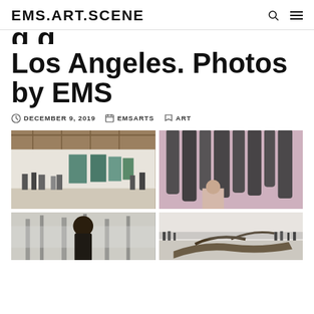EMS.ART.SCENE
Los Angeles. Photos by EMS
DECEMBER 9, 2019   EMSARTS   ART
[Figure (photo): Gallery interior with people viewing teal/green artworks on display in a large industrial space with exposed roof beams]
[Figure (photo): Close-up of large hanging sculptural textile pieces in dark gray, viewed from below, with pink wall background and a person visible]
[Figure (photo): Person with natural hair viewed from behind looking at misty forest landscape artwork]
[Figure (photo): Large exhibition space with crowds viewing a large fallen tree/branch sculpture installation on the floor]